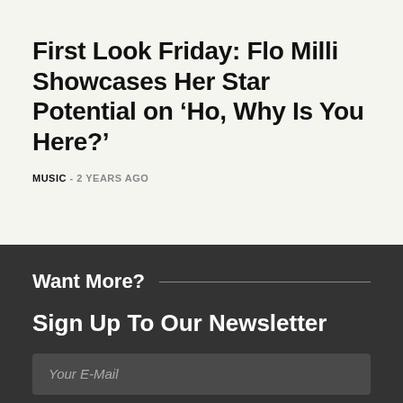First Look Friday: Flo Milli Showcases Her Star Potential on ‘Ho, Why Is You Here?’
MUSIC - 2 YEARS AGO
Want More?
Sign Up To Our Newsletter
Your E-Mail